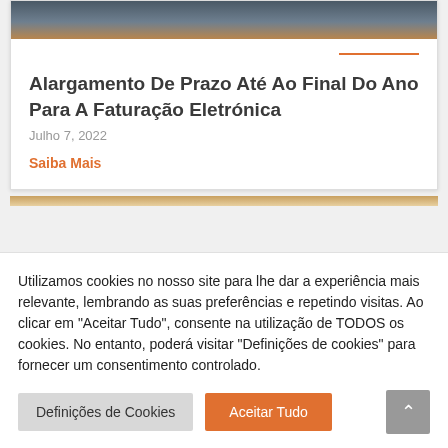[Figure (photo): Top portion of a person photo, partially cropped, with brown/orange gradient at bottom edge]
Alargamento De Prazo Até Ao Final Do Ano Para A Faturação Eletrónica
Julho 7, 2022
Saiba Mais
Utilizamos cookies no nosso site para lhe dar a experiência mais relevante, lembrando as suas preferências e repetindo visitas. Ao clicar em "Aceitar Tudo", consente na utilização de TODOS os cookies. No entanto, poderá visitar "Definições de cookies" para fornecer um consentimento controlado.
Definições de Cookies
Aceitar Tudo